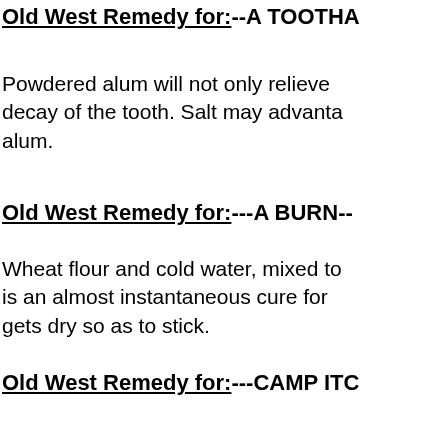Old West Remedy for:--A TOOTHACHE--
Powdered alum will not only relieve the pain, but will arrest the decay of the tooth. Salt may advantageously be mixed with the alum.
Old West Remedy for:---A BURN---
Wheat flour and cold water, mixed to a thin paste and applied freely, is an almost instantaneous cure for a burn. Renew as fast as it gets dry so as to stick.
Old West Remedy for:---CAMP ITCH---
Take iodide of potassium, sixty grains; lard, two ounces; and after washing the body well with soap and water, rub this ointment over the person three times a day for three days, and the acarus or itch insect will be destroyed without the bad effects of the old sulphur ointment a
Old West Remedy for:---A FELON---